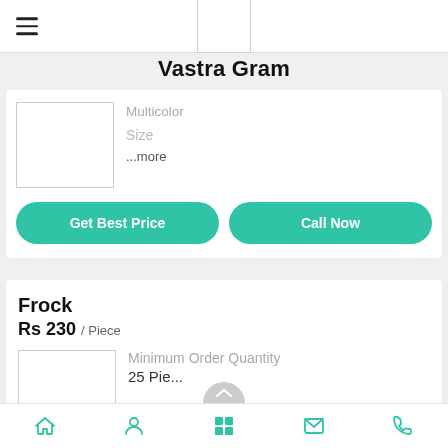Vastra Gram
Multicolor
Size
...more
Get Best Price
Call Now
Frock
Rs 230 / Piece
Minimum Order Quantity
25 Pie...